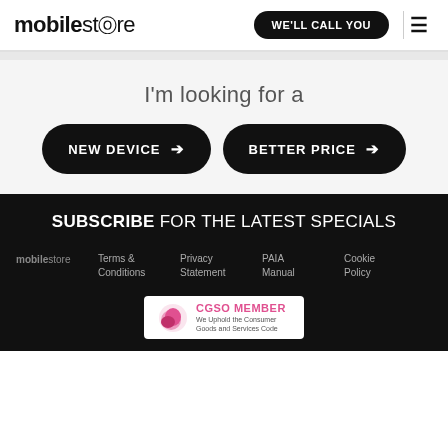mobilestore | WE'LL CALL YOU | ☰
I'm looking for a
NEW DEVICE → | BETTER PRICE →
SUBSCRIBE FOR THE LATEST SPECIALS
mobilestore | Terms & Conditions | Privacy Statement | PAIA Manual | Cookie Policy
[Figure (logo): CGSO MEMBER - We Uphold the Consumer Goods and Services Code badge]